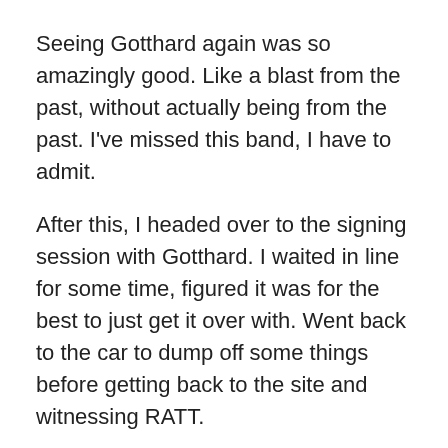Seeing Gotthard again was so amazingly good. Like a blast from the past, without actually being from the past. I've missed this band, I have to admit.
After this, I headed over to the signing session with Gotthard. I waited in line for some time, figured it was for the best to just get it over with. Went back to the car to dump off some things before getting back to the site and witnessing RATT.
RATT
RATT… the last time I saw them was on Sweden Rock 2008. I was really excited to see them again, seriously. It feels like all these bands I once saw like once or twice are just coming back for me to see once again. I said it to my friends – the bands on Sweden Rock kind of rotates a lot,